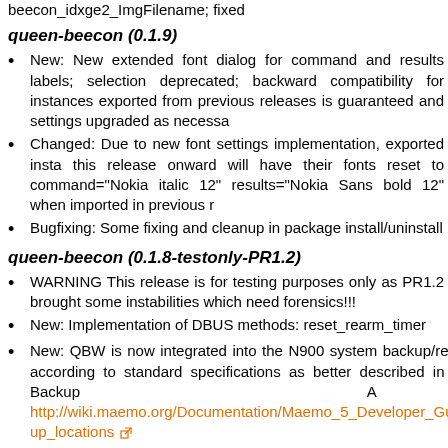beecon_idxge2_ImgFilename; fixed
queen-beecon (0.1.9)
New: New extended font dialog for command and results labels; selection deprecated; backward compatibility for instances exported from previous releases is guaranteed and settings upgraded as necessary
Changed: Due to new font settings implementation, exported instances from this release onward will have their fonts reset to command="Nokia Sans italic 12" results="Nokia Sans bold 12" when imported in previous releases
Bugfixing: Some fixing and cleanup in package install/uninstall
queen-beecon (0.1.8-testonly-PR1.2)
WARNING This release is for testing purposes only as PR1.2 brought some instabilities which need forensics!!!
New: Implementation of DBUS methods: reset_rearm_timer
New: QBW is now integrated into the N900 system backup/restore according to standard specifications as better described in SDK Backup App http://wiki.maemo.org/Documentation/Maemo_5_Developer_Guide/backup_locations
Changed: Completely revised Timer logic and reset/re-arming periodic auto-update